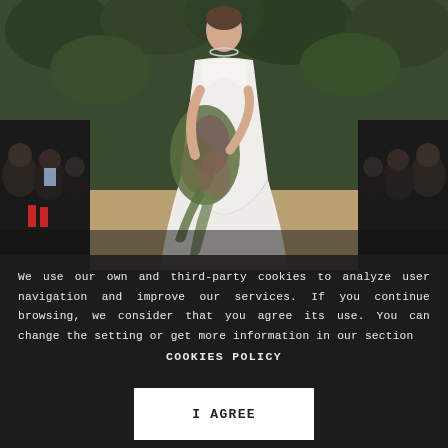[Figure (photo): A bride in a white strapless mermaid gown holding a cascading wildflower and greenery bouquet walks down a runway aisle. Seated audience members watching on both sides. Background is a green foliage wall.]
We use our own and third-party cookies to analyze user navigation and improve our services. If you continue browsing, we consider that you agree its use. You can change the setting or get more information in our section COOKIES POLICY
I AGREE